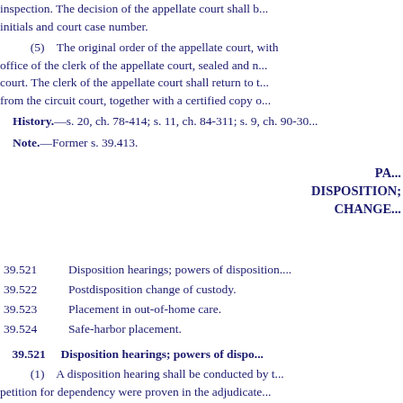inspection. The decision of the appellate court shall b... initials and court case number.
(5)   The original order of the appellate court, with... office of the clerk of the appellate court, sealed and n... court. The clerk of the appellate court shall return to t... from the circuit court, together with a certified copy o...
History.—s. 20, ch. 78-414; s. 11, ch. 84-311; s. 9, ch. 90-30...
Note.—Former s. 39.413.
PA...
DISPOSITION;
CHANGE...
39.521   Disposition hearings; powers of disposition.
39.522   Postdisposition change of custody.
39.523   Placement in out-of-home care.
39.524   Safe-harbor placement.
39.521   Disposition hearings; powers of dispo...
(1)   A disposition hearing shall be conducted by t... petition for dependency were proven in the adjudicate... consented to the finding of dependency or admitted th... arraignment hearing after proper notice, or have not b... conducted.